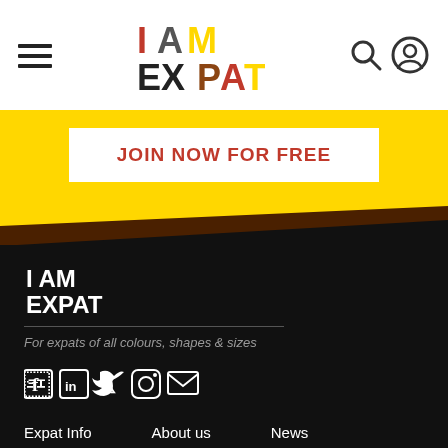I AM EXPAT — navigation header with hamburger menu, logo, search and user icons
JOIN NOW FOR FREE
[Figure (logo): I AM EXPAT logo in white on dark footer background]
For expats of all colours, shapes & sizes
[Figure (infographic): Social media icons: Facebook, LinkedIn, Twitter, Instagram, Email]
Expat Info   About us   News